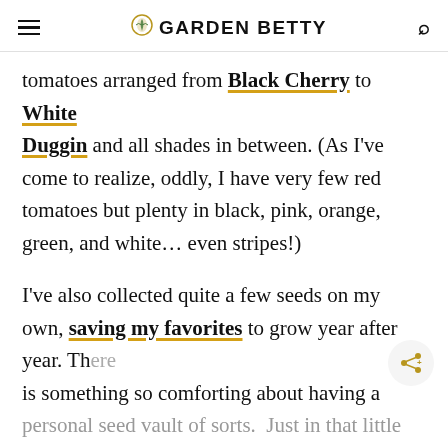GARDEN BETTY
tomatoes arranged from Black Cherry to White Duggin and all shades in between. (As I've come to realize, oddly, I have very few red tomatoes but plenty in black, pink, orange, green, and white… even stripes!)
I've also collected quite a few seeds on my own, saving my favorites to grow year after year. There is something so comforting about having a personal seed vault of sorts. Just in that little $2 packet exists a lifetime of food security and self-